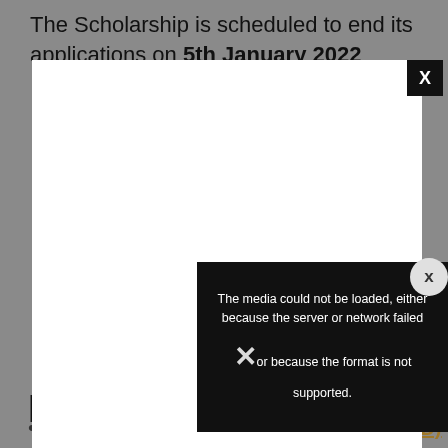The Scholarship is scheduled to end its applications on 5th January 2022
[Figure (screenshot): A modal dialog overlay on a grey background. The modal has a white area (video/media placeholder) with a black close button marked X in the top right. A second circular close button marked X appears at the right side. A black error message box reads: The media could not be loaded, either because the server or network failed or because the format is not supported. A large X icon appears in the center of the error box.]
RECOMM
Aon Bursaries in South Africa (UPDATED)